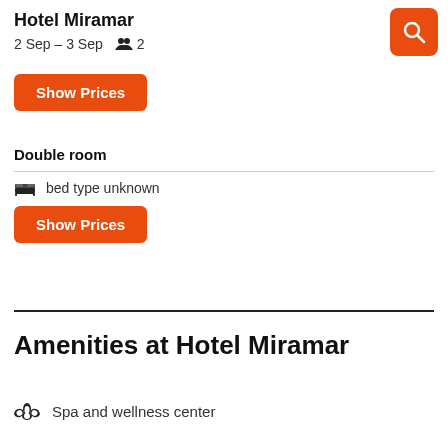Hotel Miramar
2 Sep – 3 Sep   👥 2
[Figure (other): Orange search button with magnifying glass icon]
Show Prices
Double room
🛏 bed type unknown
Show Prices
Amenities at Hotel Miramar
Spa and wellness center